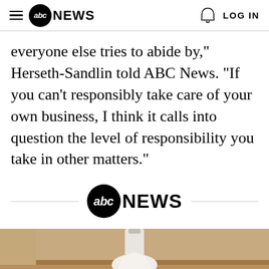abc NEWS  LOG IN
everyone else tries to abide by," Herseth-Sandlin told ABC News. "If you can't responsibly take care of your own business, I think it calls into question the level of responsibility you take in other matters."
[Figure (logo): ABC News logo with horizontal divider lines on either side]
[Figure (photo): A hand holding a white light bulb against a wooden surface background]